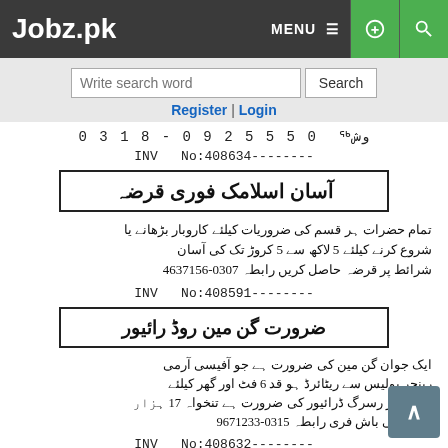Jobz.pk — MENU — settings — search
Write search word | Search
Register | Login
پشاور 0 3 1 8 - 0 9 2 5 5 5 0
INV  No:408634--------
آسان اسلامک فوری قرضہ
تمام حضرات ہر قسم کی ضروریات کیلئے کاروبار بڑھانے یا شروع کرنے کیلئے 5 لاکھ سے 5 کروڑ تک کی آسان شرائط پر قرضہ حاصل کریں رابطہ 0307-4637156
INV  No:408591--------
ضرورت گن مین روڑ رائیور
ایک جوان گن مین کی ضرورت ہے جو آفیسی آرمی رینجر پولیس سے ریٹائرڈ ہو قد 6 فٹ اور گھر کیلئے ایک عمر رسرگ ڈرائیور کی ضرورت ہے تنخواہ 17 ہزار کھانا پانی باش فری رابطہ 0315-9671233
INV  No:408632--------
ضرورت سٹاف
مائپنٹل کمپنی کو جوان ملک کی تجربہ کار ڈیلیفٹ...